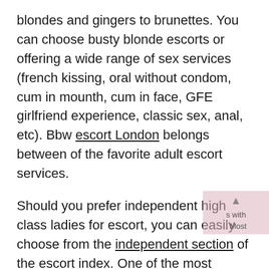blondes and gingers to brunettes. You can choose busty blonde escorts or offering a wide range of sex services (french kissing, oral without condom, cum in mounth, cum in face, GFE girlfriend experience, classic sex, anal, etc). Bbw escort London belongs between of the favorite adult escort services.
Should you prefer independent high class ladies for escort, you can easily choose from the independent section of the escort index. One of the most popular services is the full service that offers anal+cim. Are you an adult movie lover? Do you like asian pornstars or do you prefere to choose from pornstar escorts section? Well this is the right place for you! The catalogue also features adult film star escorts with both big and small boobs and nice tight asses. Most of these escorting pornstars have silicon breasts. If